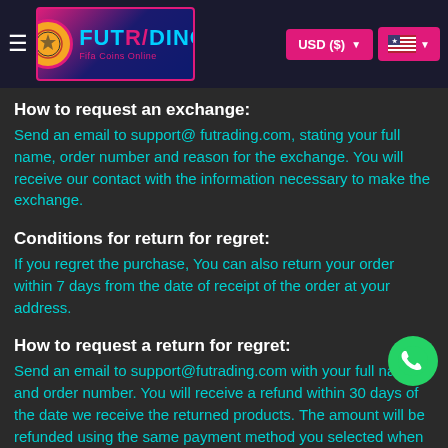FUTRADING — Fifa Coins Online | USD ($) | [US Flag]
How to request an exchange:
Send an email to support@ futrading.com, stating your full name, order number and reason for the exchange. You will receive our contact with the information necessary to make the exchange.
Conditions for return for regret:
If you regret the purchase, You can also return your order within 7 days from the date of receipt of the order at your address.
How to request a return for regret:
Send an email to support@futrading.com with your full name and order number. You will receive a refund within 30 days of the date we receive the returned products. The amount will be refunded using the same payment method you selected when purchasing from our online store. There